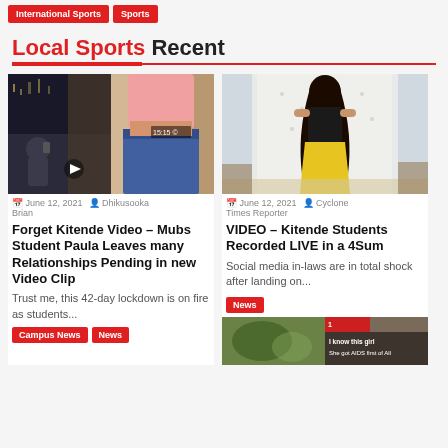International Sports | Sports
Local Sports Recent
[Figure (photo): Video thumbnail showing two people, one on phone, another showing midriff]
June 12, 2021  Dhikusooka Brian
Forget Kitende Video – Mubs Student Paula Leaves many Relationships Pending in new Video Clip
Trust me, this 42-day lockdown is on fire as students...
Campus News  News
[Figure (photo): Woman in yellow skirt viewed from behind near window curtains]
June 12, 2021  Cyclone Times Reporter
VIDEO – Kitende Students Recorded LIVE in a 4Sum
Social media in-laws are in total shock after landing on...
News
[Figure (photo): Blurry image with text overlay 'I know this girl / She got AIDS first of All']